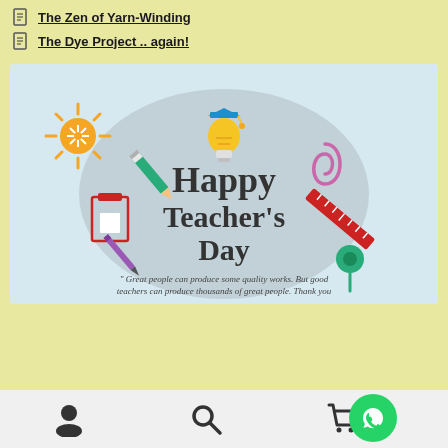The Zen of Yarn-Winding
The Dye Project .. again!
[Figure (illustration): Happy Teacher's Day greeting card with colorful school icons (sun, pencil, lightbulb with graduation cap, clipboard, paperclip, ruler, pen, pushpin) on a light blue background with a grey blob shape in the center. Text reads: Happy Teacher's Day. Subtitle: Great people can produce some quality works. But good teachers can produce thousands of great people. Thank you]
User icon, Search icon, Cart icon, WhatsApp icon